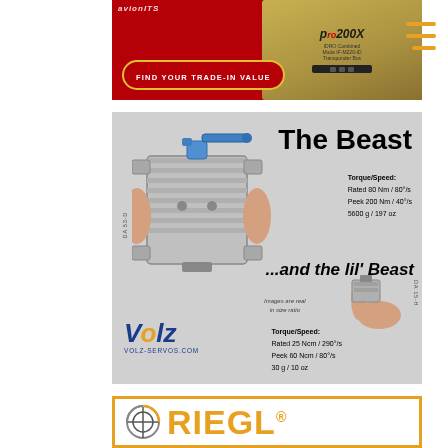[Figure (photo): Avionics advertisement banner showing a gold transponder device on red background with 'FIND YOUR TRADE-IN VALUE' button. Hamburger menu icon visible at right.]
[Figure (photo): Volz Servos advertisement showing 'The Beast' large servo (DA 53-D) held in hands, and 'the lil' Beast' small servo (DA 15-H) held in fingertips. Grey background with product specs and Volz logo.]
[Figure (logo): RIEGL logo advertisement — circular crosshair symbol in grey/black next to orange RIEGL text with registered trademark symbol, on white background with orange border.]